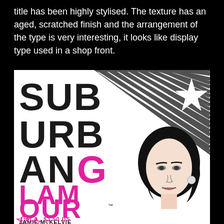title has been highly stylised. The texture has an aged, scratched finish and the arrangement of the type is very interesting, it looks like display type used in a shop front.
[Figure (illustration): Comic book cover for 'Suburban Glamour' issue 1 of 4 by Jamie McKelvie. Large stylised typography reading 'SUB URB ANG LAM OUR' with black and pink lettering, diagonal stripe pattern in top-right corner with a white star, and illustration of a woman with dark hair on the right side. Bottom shows author name and price ($3.50 US). Small pink star outlines at bottom left.]